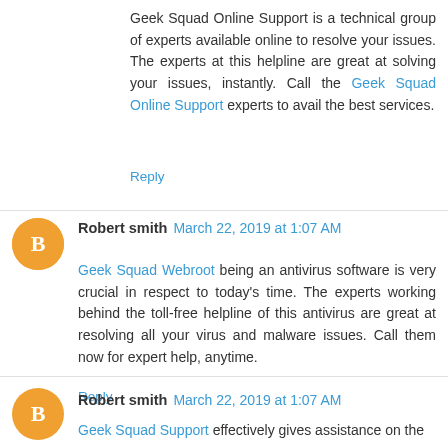Geek Squad Online Support is a technical group of experts available online to resolve your issues. The experts at this helpline are great at solving your issues, instantly. Call the Geek Squad Online Support experts to avail the best services.
Reply
Robert smith  March 22, 2019 at 1:07 AM
Geek Squad Webroot being an antivirus software is very crucial in respect to today's time. The experts working behind the toll-free helpline of this antivirus are great at resolving all your virus and malware issues. Call them now for expert help, anytime.
Reply
Robert smith  March 22, 2019 at 1:07 AM
Geek Squad Support effectively gives assistance on the